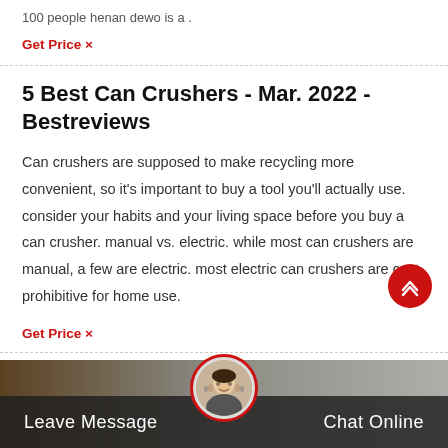100 people henan dewo is a .
Get Price ×
5 Best Can Crushers - Mar. 2022 - Bestreviews
Can crushers are supposed to make recycling more convenient, so it's important to buy a tool you'll actually use. consider your habits and your living space before you buy a can crusher. manual vs. electric. while most can crushers are manual, a few are electric. most electric can crushers are cost prohibitive for home use.
Get Price ×
[Figure (photo): Footer bar with background image showing industrial/street scene, avatar of a woman with headset in center circle, 'Leave Message' on left and 'Chat Online' on right in white text on dark overlay]